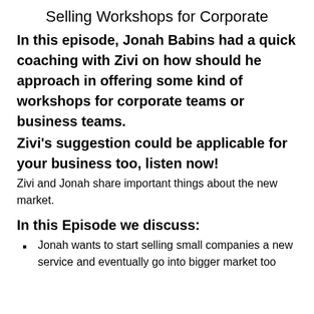Selling Workshops for Corporate
In this episode, Jonah Babins had a quick coaching with Zivi on how should he approach in offering some kind of workshops for corporate teams or business teams.
Zivi’s suggestion could be applicable for your business too, listen now!
Zivi and Jonah share important things about the new market.
In this Episode we discuss:
Jonah wants to start selling small companies a new service and eventually go into bigger market too